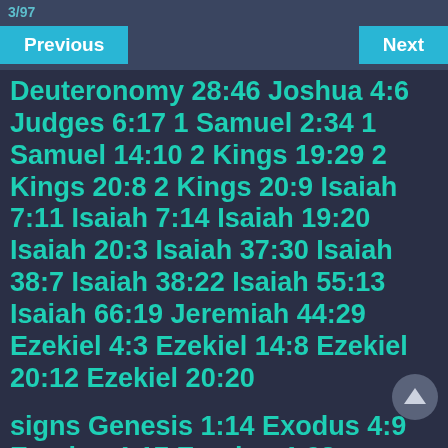3/97
Previous    Next
Deuteronomy 28:46 Joshua 4:6 Judges 6:17 1 Samuel 2:34 1 Samuel 14:10 2 Kings 19:29 2 Kings 20:8 2 Kings 20:9 Isaiah 7:11 Isaiah 7:14 Isaiah 19:20 Isaiah 20:3 Isaiah 37:30 Isaiah 38:7 Isaiah 38:22 Isaiah 55:13 Isaiah 66:19 Jeremiah 44:29 Ezekiel 4:3 Ezekiel 14:8 Ezekiel 20:12 Ezekiel 20:20
signs Genesis 1:14 Exodus 4:9 Exodus 4:17 Exodus 4:28 Exodus 4:30 Exodus 7:3 Exodus 10:1 Exodus 10:2 Numbers 14:11 Deuteronomy 4:34 Deuteronomy 6:22 Deuteronomy